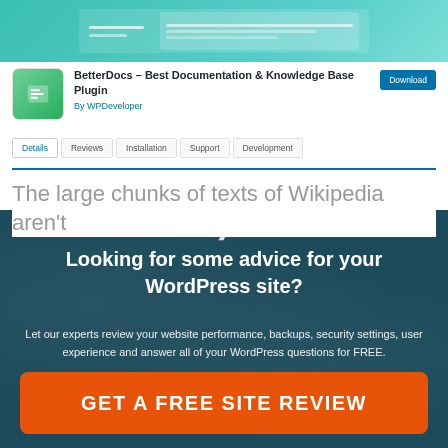[Figure (screenshot): WordPress plugin page screenshot showing BetterDocs plugin with teal header, plugin icon, title, download button, and navigation tabs (Details, Reviews, Installation, Support, Development)]
The large chunks of texts of Wikipedia aren't
Looking for some advice for your WordPress site?
Let our experts review your website performance, backups, security settings, user experience and answer all of your WordPress questions for FREE.
GET A FREE SITE REVIEW